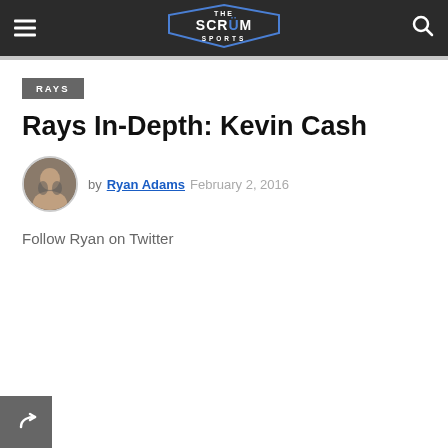The Scrum Sports — navigation header with hamburger menu, logo, and search icon
RAYS
Rays In-Depth: Kevin Cash
by Ryan Adams  February 2, 2016
Follow Ryan on Twitter